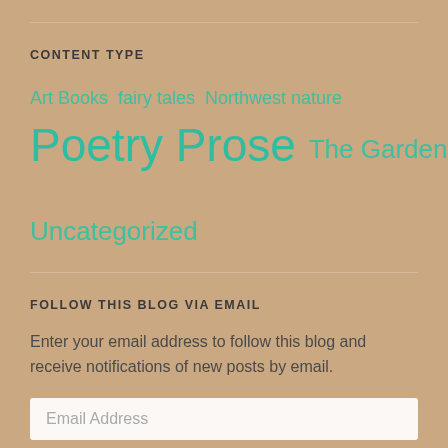CONTENT TYPE
Art Books  fairy tales  Northwest nature
Poetry  Prose  The Garden
Uncategorized
FOLLOW THIS BLOG VIA EMAIL
Enter your email address to follow this blog and receive notifications of new posts by email.
Email Address